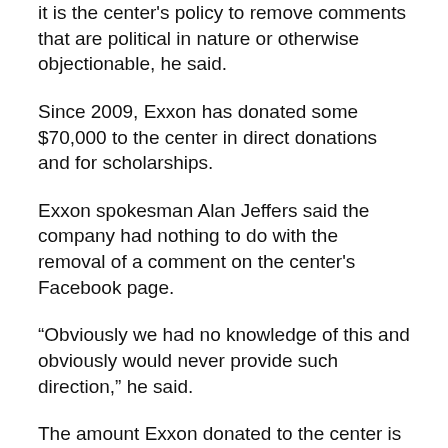it is the center's policy to remove comments that are political in nature or otherwise objectionable, he said.
Since 2009, Exxon has donated some $70,000 to the center in direct donations and for scholarships.
Exxon spokesman Alan Jeffers said the company had nothing to do with the removal of a comment on the center's Facebook page.
“Obviously we had no knowledge of this and obviously would never provide such direction,” he said.
The amount Exxon donated to the center is negligible in terms of the